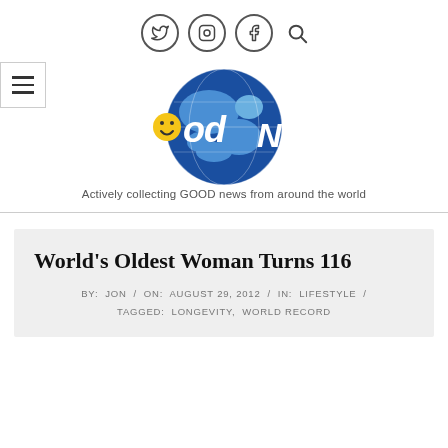Social icons: Twitter, Instagram, Facebook, Search
[Figure (logo): Good News logo with globe and smiley face emoji]
Actively collecting GOOD news from around the world
World’s Oldest Woman Turns 116
BY: JON / ON: AUGUST 29, 2012 / IN: LIFESTYLE / TAGGED: LONGEVITY, WORLD RECORD